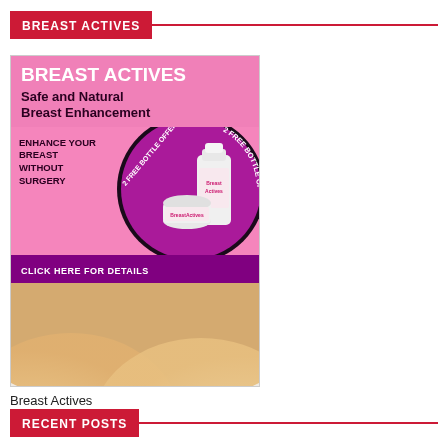BREAST ACTIVES
[Figure (photo): Advertisement for Breast Actives showing pink promotional banner with text 'BREAST ACTIVES', 'Safe and Natural Breast Enhancement', 'ENHANCE YOUR BREAST WITHOUT SURGERY', a purple circle with '2 FREE BOTTLE OFFER' showing product bottles, a 'CLICK HERE FOR DETAILS' bar, and a photo of a woman's chest area in white lingerie.]
Breast Actives
RECENT POSTS